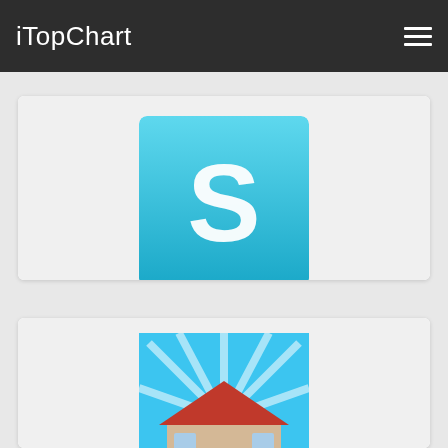iTopChart
[Figure (screenshot): App icon for Swift Miles - Mileage Tracker: cyan/blue gradient background with white stylized S letter]
No. 66
Finance $4.99
Tekton Technologies (P) Ltd.
Swift Miles - Mileage Tracker
[Figure (screenshot): App icon showing illustrated house with red roof, blue sky with sunburst rays, green lawn, white picket fence]